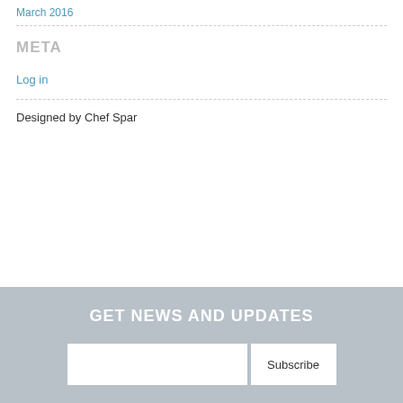March 2016
META
Log in
Designed by Chef Spar
GET NEWS AND UPDATES